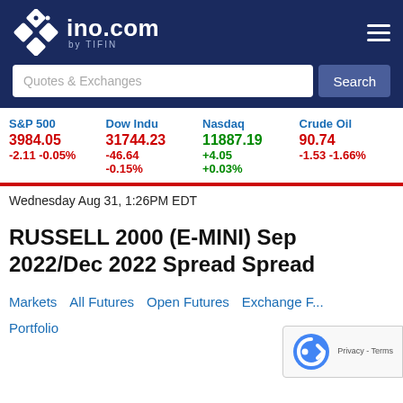ino.com by TIFIN
Quotes & Exchanges
| S&P 500 | Dow Indu | Nasdaq | Crude Oil |
| --- | --- | --- | --- |
| 3984.05 | 31744.23 | 11887.19 | 90.74 |
| -2.11 -0.05% | -46.64 -0.15% | +4.05 +0.03% | -1.53 -1.66% |
Wednesday Aug 31, 1:26PM EDT
RUSSELL 2000 (E-MINI) Sep 2022/Dec 2022 Spread Spread
Markets   All Futures   Open Futures   Exchange F...
Portfolio